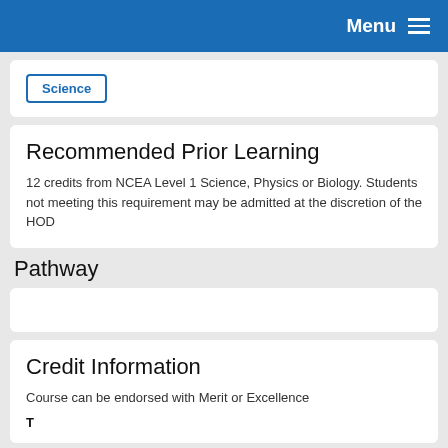Menu
Science
Recommended Prior Learning
12 credits from NCEA Level 1 Science, Physics or Biology. Students not meeting this requirement may be admitted at the discretion of the HOD
Pathway
Credit Information
Course can be endorsed with Merit or Excellence
Total Credits Available: 22 credits